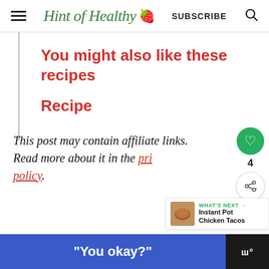Hint of Healthy — SUBSCRIBE
You might also like these recipes
Recipe
This post may contain affiliate links. Read more about it in the privacy policy.
WHAT'S NEXT → Instant Pot Chicken Tacos
"You okay?"